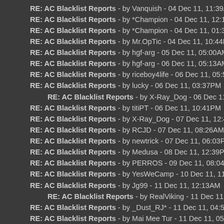RE: AC Blacklist Reports - by Vanquish - 04 Dec 11, 11:39AM
RE: AC Blacklist Reports - by *Champion - 04 Dec 11, 12:16PM
RE: AC Blacklist Reports - by *Champion - 04 Dec 11, 01:36PM
RE: AC Blacklist Reports - by Mr.OpTic - 04 Dec 11, 10:44PM
RE: AC Blacklist Reports - by hgf-arg - 05 Dec 11, 05:00AM
RE: AC Blacklist Reports - by hgf-arg - 06 Dec 11, 05:13AM
RE: AC Blacklist Reports - by riceboy4life - 06 Dec 11, 05:56AM
RE: AC Blacklist Reports - by lucky - 06 Dec 11, 03:37PM
RE: AC Blacklist Reports - by X-Ray_Dog - 06 Dec 11, 07:41PM
RE: AC Blacklist Reports - by titiPT - 06 Dec 11, 10:41PM
RE: AC Blacklist Reports - by X-Ray_Dog - 07 Dec 11, 12:48AM
RE: AC Blacklist Reports - by RCJD - 07 Dec 11, 08:26AM
RE: AC Blacklist Reports - by newtrick - 07 Dec 11, 06:03PM
RE: AC Blacklist Reports - by Medusa - 08 Dec 11, 12:39PM
RE: AC Blacklist Reports - by PERROS - 09 Dec 11, 08:04AM
RE: AC Blacklist Reports - by YesWeCamp - 10 Dec 11, 11:54PM
RE: AC Blacklist Reports - by Jg99 - 11 Dec 11, 12:13AM
RE: AC Blacklist Reports - by RealViking - 11 Dec 11, 10:23AM
RE: AC Blacklist Reports - by _Dust_RJ* - 11 Dec 11, 04:55AM
RE: AC Blacklist Reports - by Mai Mee Tur - 11 Dec 11, 05:20AM
RE: AC Blacklist Reports - by DES|Anderson - 11 Dec 11, 09:48AM
RE: AC Blacklist Reports - by jamz - 11 Dec 11, 10:31AM
RE: AC Blacklist Reports - by Kalas - 13 Dec 11, 01:58AM
RE: AC Blacklist Reports - by hgf-arg - 14 Dec 11, 04:03AM
RE: AC Blacklist Reports - by ... - 14 Dec 11, ...